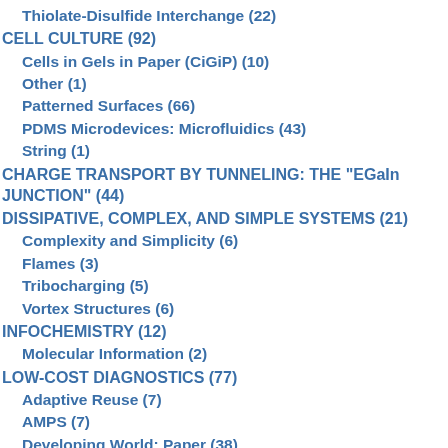Thiolate-Disulfide Interchange (22)
CELL CULTURE (92)
Cells in Gels in Paper (CiGiP) (10)
Other (1)
Patterned Surfaces (66)
PDMS Microdevices: Microfluidics (43)
String (1)
CHARGE TRANSPORT BY TUNNELING: THE "EGaIn JUNCTION" (44)
DISSIPATIVE, COMPLEX, AND SIMPLE SYSTEMS (21)
Complexity and Simplicity (6)
Flames (3)
Tribocharging (5)
Vortex Structures (6)
INFOCHEMISTRY (12)
Molecular Information (2)
LOW-COST DIAGNOSTICS (77)
Adaptive Reuse (7)
AMPS (7)
Developing World: Paper (38)